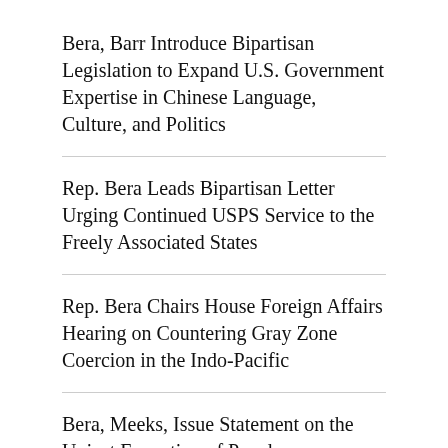Bera, Barr Introduce Bipartisan Legislation to Expand U.S. Government Expertise in Chinese Language, Culture, and Politics
Rep. Bera Leads Bipartisan Letter Urging Continued USPS Service to the Freely Associated States
Rep. Bera Chairs House Foreign Affairs Hearing on Countering Gray Zone Coercion in the Indo-Pacific
Bera, Meeks, Issue Statement on the Unjust Execution of Pro-democracy Burmese Activists
More from US House Representatives
More posts in US House Representatives »